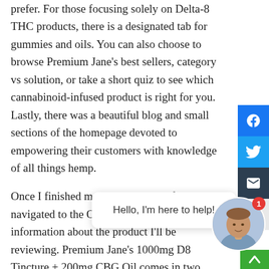prefer. For those focusing solely on Delta-8 THC products, there is a designated tab for gummies and oils. You can also choose to browse Premium Jane's best sellers, category vs solution, or take a short quiz to see which cannabinoid-infused product is right for you. Lastly, there was a beautiful blog and small sections of the homepage devoted to empowering their customers with knowledge of all things hemp.
Once I finished my quick perusal of the site, I navigated to the Oils section to find more information about the product I'll be reviewing. Premium Jane's 1000mg D8 Tincture + 200mg CBG Oil comes in two flavors: Tropical Punch and Watermelon. Both cost $5[...] single purchase, bu[...] the[...] sign up for their customized subscription service.